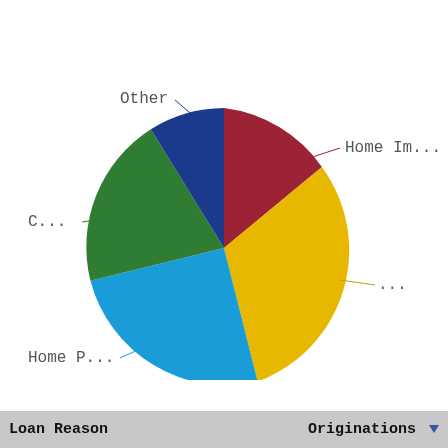[Figure (pie-chart): Loan Originations by Reason]
| Loan Reason | Originations |
| --- | --- |